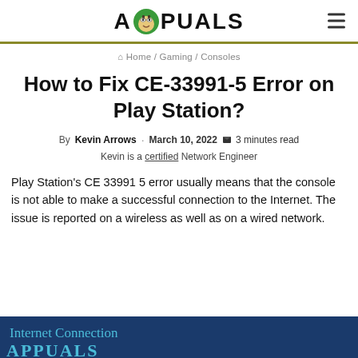APPUALS
Home / Gaming / Consoles
How to Fix CE-33991-5 Error on Play Station?
By Kevin Arrows · March 10, 2022  3 minutes read
Kevin is a certified Network Engineer
Play Station's CE 33991 5 error usually means that the console is not able to make a successful connection to the Internet. The issue is reported on a wireless as well as on a wired network.
[Figure (screenshot): Blue screen showing 'Internet Connection' text, partial PlayStation UI screenshot]